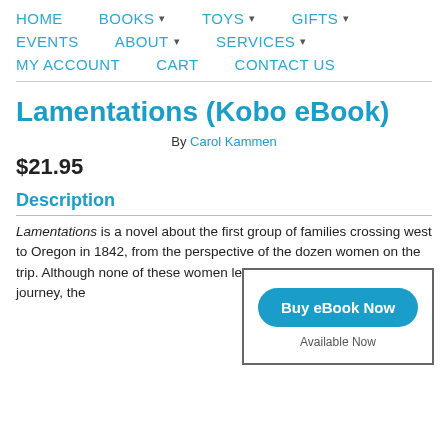HOME  BOOKS ▾  TOYS ▾  GIFTS ▾  EVENTS  ABOUT ▾  SERVICES ▾  MY ACCOUNT  CART  CONTACT US
Lamentations (Kobo eBook)
By Carol Kammen
$21.95
[Figure (other): Buy eBook Now button with 'Available Now' text inside a bordered box]
Description
Lamentations is a novel about the first group of families crossing west to Oregon in 1842, from the perspective of the dozen women on the trip. Although none of these women left a written record of her journey, the